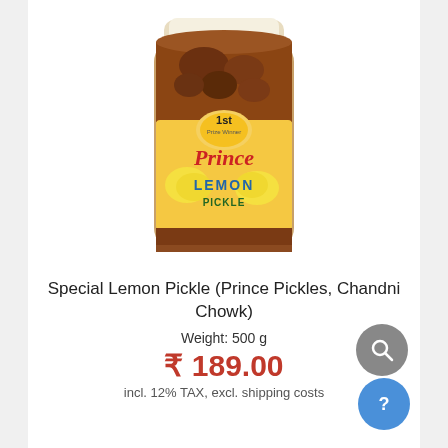[Figure (photo): A jar of Prince Lemon Pickle with a yellow label showing '1st Prize Winner', 'Prince', 'LEMON PICKLE' text and lemon images on the label. The jar has a cream-colored lid and contains dark-colored pickle.]
Special Lemon Pickle (Prince Pickles, Chandni Chowk)
Weight: 500 g
₹ 189.00
incl. 12% TAX, excl. shipping costs